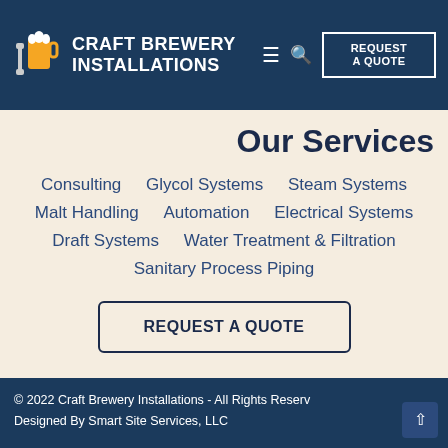[Figure (logo): Craft Brewery Installations logo with beer mug and wrench icon, white text on dark navy background, with navigation hamburger menu, search icon, and REQUEST A QUOTE button]
Our Services
Consulting
Glycol Systems
Steam Systems
Malt Handling
Automation
Electrical Systems
Draft Systems
Water Treatment & Filtration
Sanitary Process Piping
REQUEST A QUOTE
© 2022 Craft Brewery Installations - All Rights Reserved
Designed By Smart Site Services, LLC